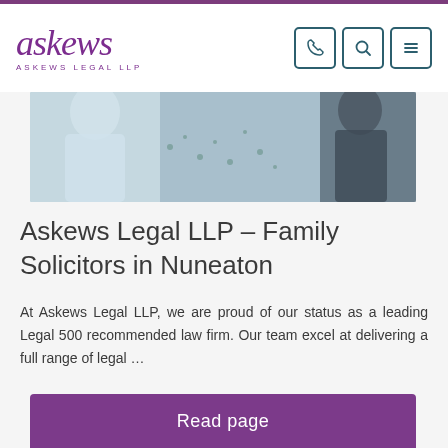askews ASKEWS LEGAL LLP
[Figure (photo): A photograph of people, showing clothes with a cactus print pattern, used as a hero/banner image on the website.]
Askews Legal LLP – Family Solicitors in Nuneaton
At Askews Legal LLP, we are proud of our status as a leading Legal 500 recommended law firm. Our team excel at delivering a full range of legal …
Read page